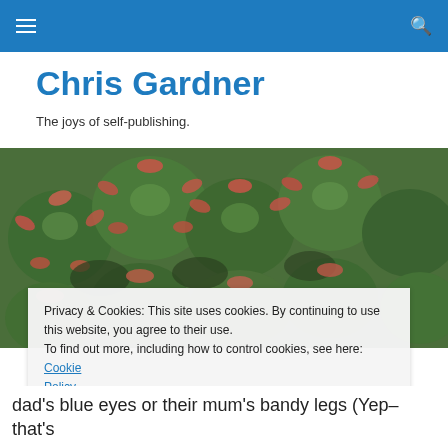Chris Gardner
The joys of self-publishing.
[Figure (photo): Close-up photograph of green succulent plants with reddish-pink edges, tightly clustered together filling the entire frame.]
Privacy & Cookies: This site uses cookies. By continuing to use this website, you agree to their use.
To find out more, including how to control cookies, see here: Cookie Policy

Close and accept
dad's blue eyes or their mum's bandy legs (Yep–that's